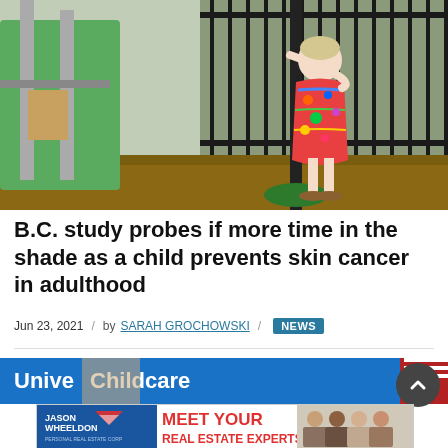[Figure (photo): A young girl in a colorful floral dress standing on playground equipment at a park, with a black iron fence in the background and playground structures visible.]
B.C. study probes if more time in the shade as a child prevents skin cancer in adulthood
Jun 23, 2021 / by SARAH GROCHOWSKI / NEWS
[Figure (screenshot): News banner image showing text 'Universal Childcare' on a blue background with partial image of a child.]
[Figure (photo): Advertisement banner for Jason Wheeldon real estate: 'MEET YOUR REAL ESTATE EXPERTS!' with photos of team members.]